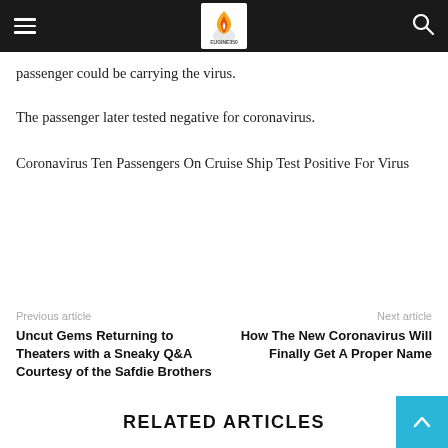EUGINE350 (logo navigation bar)
passenger could be carrying the virus.
The passenger later tested negative for coronavirus.
Coronavirus Ten Passengers On Cruise Ship Test Positive For Virus
Previous article
Uncut Gems Returning to Theaters with a Sneaky Q&A Courtesy of the Safdie Brothers
Next article
How The New Coronavirus Will Finally Get A Proper Name
RELATED ARTICLES